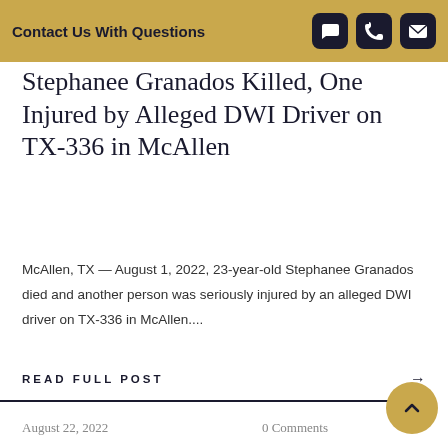Contact Us With Questions
Stephanee Granados Killed, One Injured by Alleged DWI Driver on TX-336 in McAllen
McAllen, TX — August 1, 2022, 23-year-old Stephanee Granados died and another person was seriously injured by an alleged DWI driver on TX-336 in McAllen....
READ FULL POST →
August 22, 2022    0 Comments